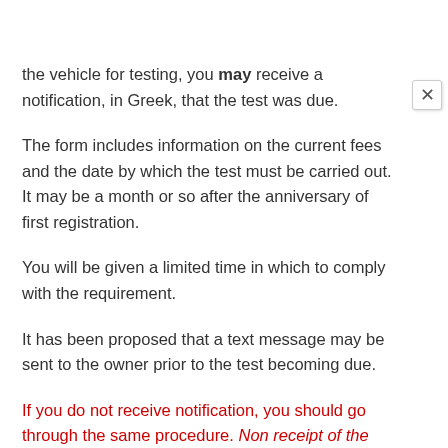the vehicle for testing, you may receive a notification, in Greek, that the test was due.
The form includes information on the current fees and the date by which the test must be carried out. It may be a month or so after the anniversary of first registration.
You will be given a limited time in which to comply with the requirement.
It has been proposed that a text message may be sent to the owner prior to the test becoming due.
If you do not receive notification, you should go through the same procedure. Non receipt of the reminder will not let you off the hook